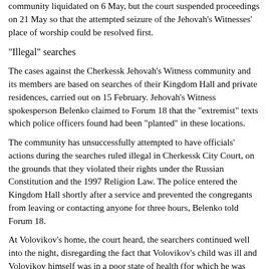community liquidated on 6 May, but the court suspended proceedings on 21 May so that the attempted seizure of the Jehovah's Witnesses' place of worship could be resolved first.
"Illegal" searches
The cases against the Cherkessk Jehovah's Witness community and its members are based on searches of their Kingdom Hall and private residences, carried out on 15 February. Jehovah's Witness spokesperson Belenko claimed to Forum 18 that the "extremist" texts which police officers found had been "planted" in these locations.
The community has unsuccessfully attempted to have officials' actions during the searches ruled illegal in Cherkessk City Court, on the grounds that they violated their rights under the Russian Constitution and the 1997 Religion Law. The police entered the Kingdom Hall shortly after a service and prevented the congregants from leaving or contacting anyone for three hours, Belenko told Forum 18.
At Volovikov's home, the court heard, the searchers continued well into the night, disregarding the fact that Volovikov's child was ill and Volovikov himself was in a poor state of health (for which he was hospitalised the next day). Judge Kochkarov refused this suit on 1 June and the Jehovah's Witnesses have appealed to the Supreme